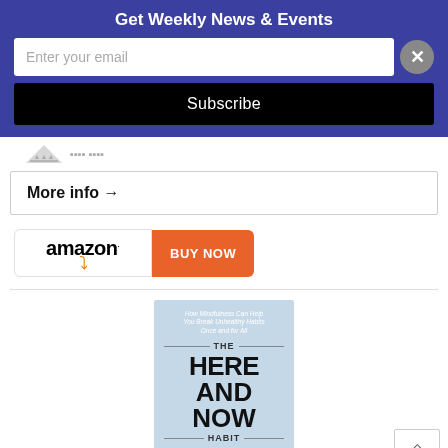Get Weekly News & Events
Enter your email
Subscribe
More info →
[Figure (logo): Amazon logo with orange arrow and BUY NOW button]
[Figure (photo): Book cover: The Here and Now Habit – How Mindfulness Can Help You Break Unhealthy Habits Once and for All]